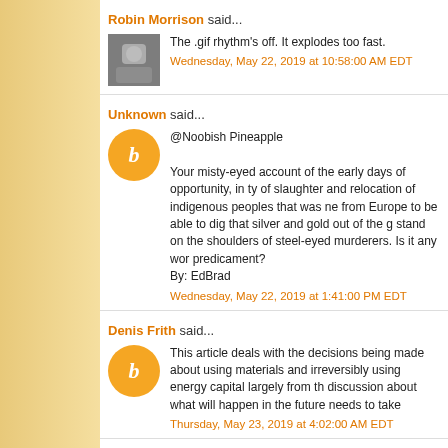Robin Morrison said...
The .gif rhythm's off. It explodes too fast.
Wednesday, May 22, 2019 at 10:58:00 AM EDT
Unknown said...
@Noobish Pineapple

Your misty-eyed account of the early days of opportunity, in ty of slaughter and relocation of indigenous peoples that was ne from Europe to be able to dig that silver and gold out of the g stand on the shoulders of steel-eyed murderers. Is it any wor predicament?
By: EdBrad
Wednesday, May 22, 2019 at 1:41:00 PM EDT
Denis Frith said...
This article deals with the decisions being made about using materials and irreversibly using energy capital largely from th discussion about what will happen in the future needs to take
Thursday, May 23, 2019 at 4:02:00 AM EDT